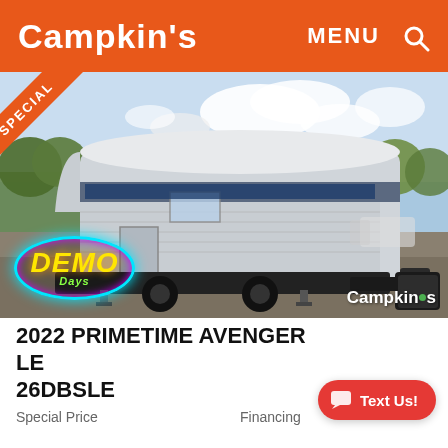Campkin's   MENU  🔍
[Figure (photo): Photo of a 2022 Primetime Avenger LE 26DBSLE travel trailer RV parked on a lot with trees and other vehicles in the background. A 'SPECIAL' orange ribbon badge is in the top-left corner. A 'DEMO Days' neon oval badge appears in the bottom-left. 'Campkin's' watermark appears in the bottom-right.]
2022 PRIMETIME AVENGER LE 26DBSLE
Special Price
Financing